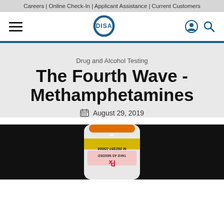Careers | Online Check-In | Applicant Assistance | Current Customers
[Figure (logo): DISA logo with hamburger menu icon and user/search icons in navigation bar]
Drug and Alcohol Testing
The Fourth Wave - Methamphetamines
August 29, 2019
[Figure (photo): A prescription pill bottle photographed upside-down showing label text 'TAKE AS NEEDED' and prescription marking, against a dark background]